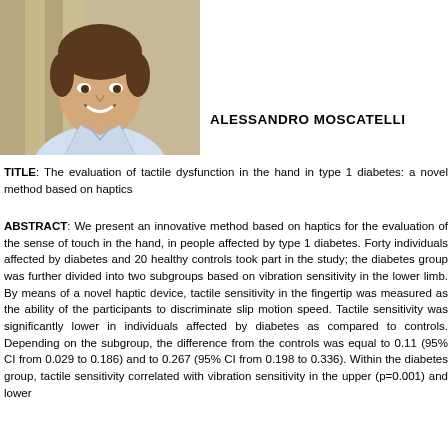[Figure (photo): Portrait photo of a smiling young man with short dark hair, wearing a light blue dress shirt, photographed against a wooden background.]
ALESSANDRO MOSCATELLI
TITLE: The evaluation of tactile dysfunction in the hand in type 1 diabetes: a novel method based on haptics
ABSTRACT: We present an innovative method based on haptics for the evaluation of the sense of touch in the hand, in people affected by type 1 diabetes. Forty individuals affected by diabetes and 20 healthy controls took part in the study; the diabetes group was further divided into two subgroups based on vibration sensitivity in the lower limb. By means of a novel haptic device, tactile sensitivity in the fingertip was measured as the ability of the participants to discriminate slip motion speed. Tactile sensitivity was significantly lower in individuals affected by diabetes as compared to controls. Depending on the subgroup, the difference from the controls was equal to 0.11 (95% CI from 0.029 to 0.186) and to 0.267 (95% CI from 0.198 to 0.336). Within the diabetes group, tactile sensitivity correlated with vibration sensitivity in the upper (p=0.001) and lower